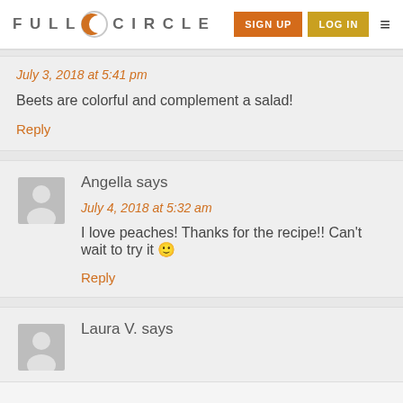Full Circle — SIGN UP | LOG IN
July 3, 2018 at 5:41 pm
Beets are colorful and complement a salad!
Reply
Angella says
July 4, 2018 at 5:32 am
I love peaches! Thanks for the recipe!! Can't wait to try it 🙂
Reply
Laura V. says